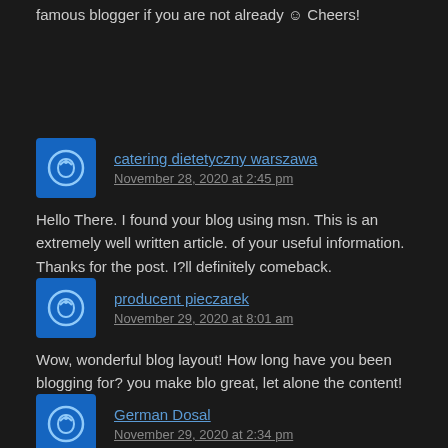famous blogger if you are not already ☺ Cheers!
catering dietetyczny warszawa
November 28, 2020 at 2:45 pm
Hello There. I found your blog using msn. This is an extremely well written article. of your useful information. Thanks for the post. I?ll definitely comeback.
producent pieczarek
November 29, 2020 at 8:01 am
Wow, wonderful blog layout! How long have you been blogging for? you make blo great, let alone the content!
German Dosal
November 29, 2020 at 2:34 pm
Vacation is among one of those activities that everyone will get into, but in which n traveling plans can be a speedy, uncomplicated imagined-free procedure. Neverth ideal plans, usually takes a little bit more effort. Below are a few methods for maxi bring. Don’t more than-timetable your vacation. When you should prepare some a additional journey, keep oneself a good amount of free time. There is not any fa